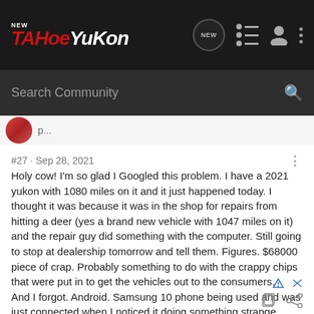NEW TahoeYukon — navigation bar with logo and icons
Search Community
[Figure (screenshot): Partial avatar and username strip]
#27 · Sep 28, 2021
Holy cow! I'm so glad I Googled this problem. I have a 2021 yukon with 1080 miles on it and it just happened today. I thought it was because it was in the shop for repairs from hitting a deer (yes a brand new vehicle with 1047 miles on it) and the repair guy did something with the computer. Still going to stop at dealership tomorrow and tell them. Figures. $68000 piece of crap. Probably something to do with the crappy chips that were put in to get the vehicles out to the consumers.
And I forgot. Android. Samsung 10 phone being used and was just connected when I noticed it doing something strange.